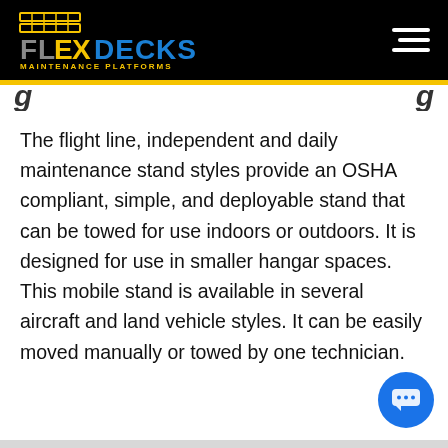[Figure (logo): FlexDecks Maintenance Platforms logo on black background with hamburger menu icon]
The flight line, independent and daily maintenance stand styles provide an OSHA compliant, simple, and deployable stand that can be towed for use indoors or outdoors. It is designed for use in smaller hangar spaces. This mobile stand is available in several aircraft and land vehicle styles. It can be easily moved manually or towed by one technician.